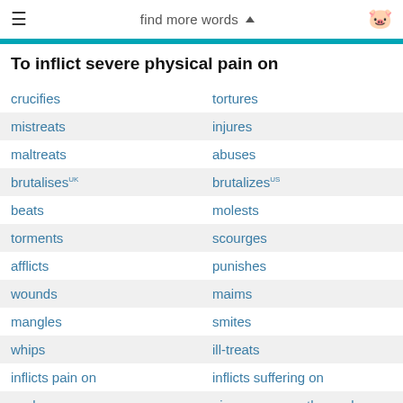find more words
To inflict severe physical pain on
crucifies / tortures
mistreats / injures
maltreats / abuses
brutalises UK / brutalizes US
beats / molests
torments / scourges
afflicts / punishes
wounds / maims
mangles / smites
whips / ill-treats
inflicts pain on / inflicts suffering on
works over / gives someone the works